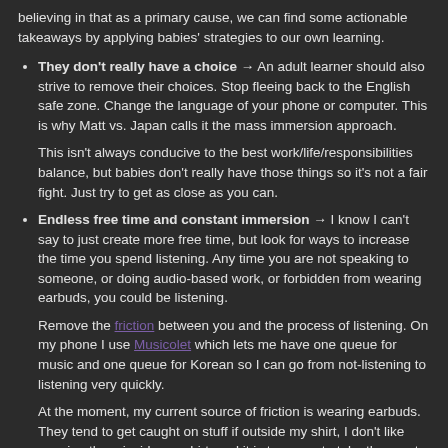believing in that as a primary cause, we can find some actionable takeaways by applying babies' strategies to our own learning.
They don't really have a choice → An adult learner should also strive to remove their choices. Stop fleeing back to the English safe zone. Change the language of your phone or computer. This is why Matt vs. Japan calls it the mass immersion approach.
This isn't always conducive to the best work/life/responsibilities balance, but babies don't really have those things so it's not a fair fight. Just try to get as close as you can.
Endless free time and constant immersion → I know I can't say to just create more free time, but look for ways to increase the time you spend listening. Any time you are not speaking to someone, or doing audio-based work, or forbidden from wearing earbuds, you could be listening.
Remove the friction between you and the process of listening. On my phone I use Musicolet which lets me have one queue for music and one queue for Korean so I can go from not-listening to listening very quickly.
At the moment, my current source of friction is wearing earbuds. They tend to get caught on stuff if outside my shirt, I don't like wearing them inside my shirt, and it is too easy to take them out and not put them back in. I could increase my listening hours by playing Korean on speaker at all times, but I don't for fear of bothering people.